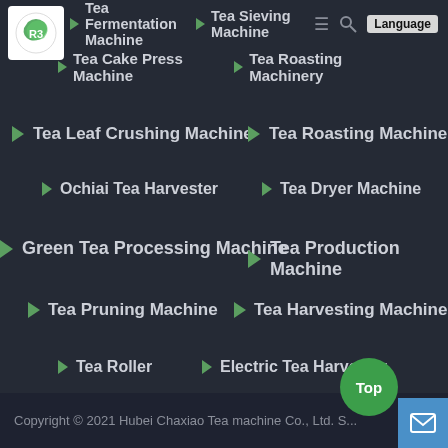[Figure (logo): Green circular logo with R3 or stylized leaf design on white background]
Tea Fermentation Machine
Tea Sieving Machine
Tea Cake Press Machine
Tea Roasting Machinery
Tea Leaf Crushing Machine
Tea Roasting Machine
Ochiai Tea Harvester
Tea Dryer Machine
Green Tea Processing Machine
Tea Production Machine
Tea Pruning Machine
Tea Harvesting Machine
Tea Roller
Electric Tea Harvester
Ctc Tea Sorting Machine
Tea Leaf Machine
Copyright © 2021 Hubei Chaxiao Tea machine Co., Ltd. S...